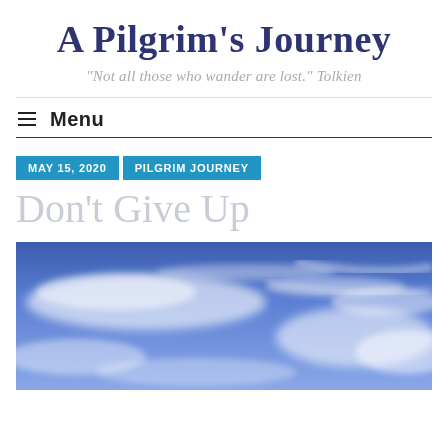A Pilgrim’s Journey
“Not all those who wander are lost.” Tolkien
Menu
MAY 15, 2020   PILGRIM JOURNEY
Don’t Give Up
[Figure (photo): Blue sky with white wispy clouds]